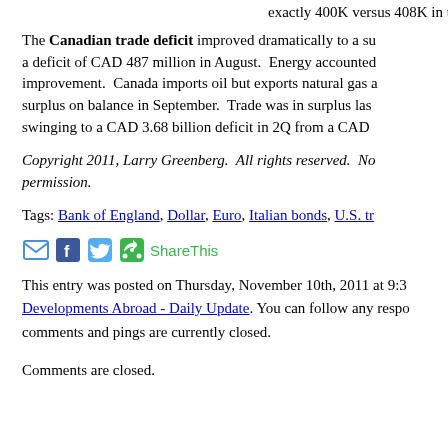exactly 400K versus 408K in the prior four weeks to Octob...
The Canadian trade deficit improved dramatically to a su... a deficit of CAD 487 million in August. Energy accounted... improvement. Canada imports oil but exports natural gas a... surplus on balance in September. Trade was in surplus las... swinging to a CAD 3.68 billion deficit in 2Q from a CAD...
Copyright 2011, Larry Greenberg. All rights reserved. No... permission.
Tags: Bank of England, Dollar, Euro, Italian bonds, U.S. tr...
[Figure (other): Social sharing icons: email, Facebook, Twitter, ShareThis]
This entry was posted on Thursday, November 10th, 2011 at 9:3... Developments Abroad - Daily Update. You can follow any respo... comments and pings are currently closed.
Comments are closed.